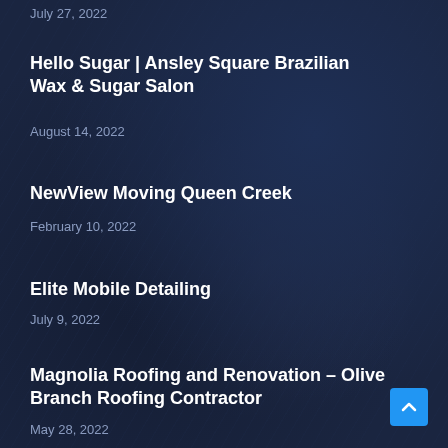July 27, 2022
Hello Sugar | Ansley Square Brazilian Wax & Sugar Salon
August 14, 2022
NewView Moving Queen Creek
February 10, 2022
Elite Mobile Detailing
July 9, 2022
Magnolia Roofing and Renovation – Olive Branch Roofing Contractor
May 28, 2022